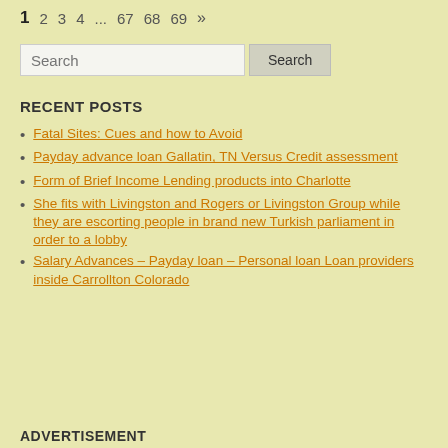1  2  3  4  ...  67  68  69  »
[Figure (other): Search input box with Search button]
RECENT POSTS
Fatal Sites: Cues and how to Avoid
Payday advance loan Gallatin, TN Versus Credit assessment
Form of Brief Income Lending products into Charlotte
She fits with Livingston and Rogers or Livingston Group while they are escorting people in brand new Turkish parliament in order to a lobby
Salary Advances – Payday loan – Personal loan Loan providers inside Carrollton Colorado
ADVERTISEMENT